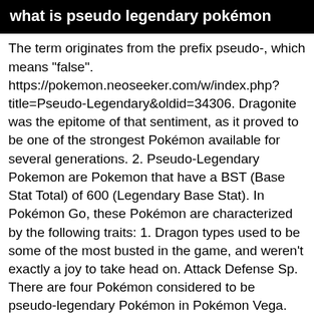what is pseudo legendary pokémon
The term originates from the prefix pseudo-, which means "false". https://pokemon.neoseeker.com/w/index.php?title=Pseudo-Legendary&oldid=34306. Dragonite was the epitome of that sentiment, as it proved to be one of the strongest Pokémon available for several generations. 2. Pseudo-Legendary Pokemon are Pokemon that have a BST (Base Stat Total) of 600 (Legendary Base Stat). In Pokémon Go, these Pokémon are characterized by the following traits: 1. Dragon types used to be some of the most busted in the game, and weren't exactly a joy to take head on. Attack Defense Sp. There are four Pokémon considered to be pseudo-legendary Pokémon in Pokémon Vega. Extremely strong Pokémon that are used a lot in tournaments. For what it's worth, "Pseudo-Legendary" (known in Japan as the "600 Club") is just a fanon term and as far as I'm aware never been used by the Pokémon Company. Dragonite has also appeared belonging to Drake and to Lance, who are both regional Champions. The first ever pseudo-legendary Pokémon, Dragonite is a fearsome an